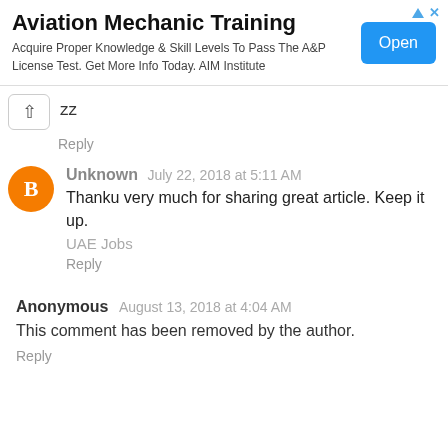[Figure (other): Advertisement banner for Aviation Mechanic Training by AIM Institute with an Open button]
zz
Reply
Unknown  July 22, 2018 at 5:11 AM
Thanku very much for sharing great article. Keep it up.
UAE Jobs
Reply
Anonymous  August 13, 2018 at 4:04 AM
This comment has been removed by the author.
Reply